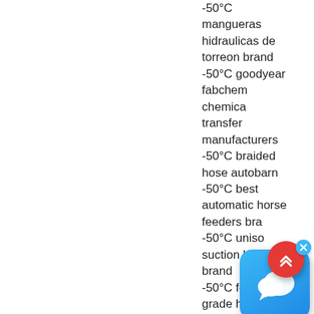-50°C mangueras hidraulicas de torreon brand -50°C goodyear fabchem chemical transfer manufacturers -50°C braided hose autobarn -50°C best automatic horse feeders brand -50°C unisof suction hose brand -50°C food grade hose
[Figure (screenshot): Chat support widget (blue rounded square icon with speech bubble) with a close X button, and a red circular scroll-to-top button with double chevron up arrows]